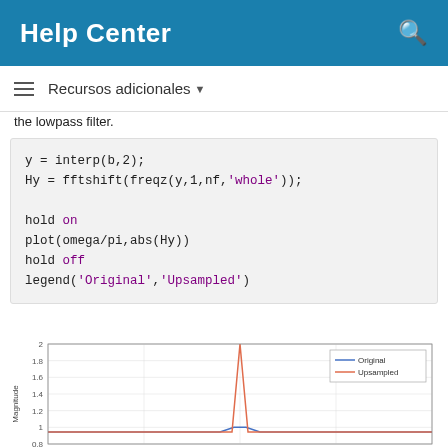Help Center
Recursos adicionales
the lowpass filter.
y = interp(b,2);
Hy = fftshift(freqz(y,1,nf,'whole'));

hold on
plot(omega/pi,abs(Hy))
hold off
legend('Original','Upsampled')
[Figure (line-chart): Line chart showing magnitude vs frequency, with a sharp peak for Upsampled around center and a smaller peak for Original. Y-axis from ~0.8 to 2, labels: 0.8, 1, 1.2, 1.4, 1.6, 1.8, 2.]